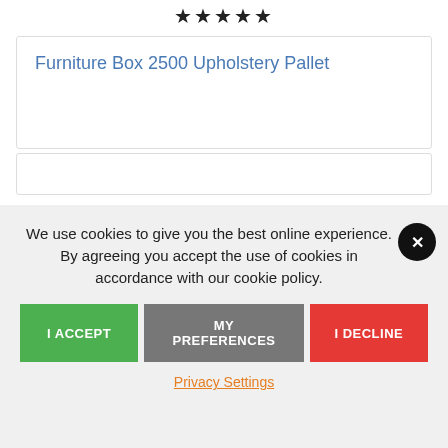[Figure (other): Five black star rating icons centered at the top of the page]
Furniture Box 2500 Upholstery Pallet
We use cookies to give you the best online experience. By agreeing you accept the use of cookies in accordance with our cookie policy.
I ACCEPT
MY PREFERENCES
I DECLINE
Privacy Settings